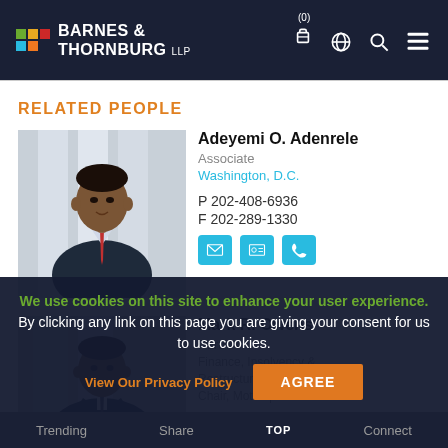Barnes & Thornburg LLP
RELATED PEOPLE
[Figure (photo): Professional headshot of Adeyemi O. Adenrele in suit]
Adeyemi O. Adenrele
Associate
Washington, D.C.
P 202-408-6936
F 202-289-1330
[Figure (photo): Professional headshot of Mark R. Owens in suit]
Mark R. Owens
Partner
Finance, Insolvency &
Restructuring Department Chair, Motorsports Pro...
We use cookies on this site to enhance your user experience. By clicking any link on this page you are giving your consent for us to use cookies.
Trending   Share   Connect